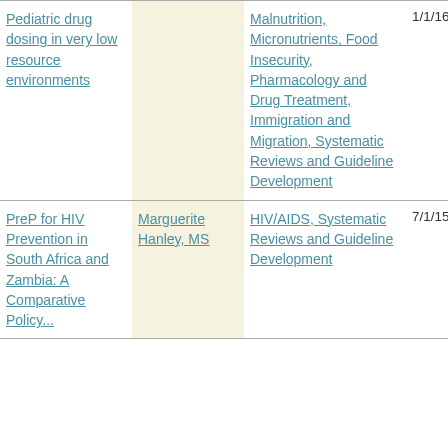| Project | PI | Topics | Start | End |
| --- | --- | --- | --- | --- |
| Pediatric drug dosing in very low resource environments |  | Malnutrition, Micronutrients, Food Insecurity, Pharmacology and Drug Treatment, Immigration and Migration, Systematic Reviews and Guideline Development | 1/1/16 | 6/30/18 |
| PreP for HIV Prevention in South Africa and Zambia: A Comparative Policy... | Marguerite Hanley, MS | HIV/AIDS, Systematic Reviews and Guideline Development | 7/1/15 | 6/30/16 |